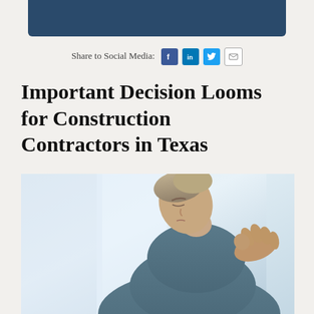Share to Social Media: [Facebook] [LinkedIn] [Twitter] [Email]
Important Decision Looms for Construction Contractors in Texas
[Figure (photo): A man in a blue t-shirt looking downward with someone's hand on his shoulder, suggesting concern or support]